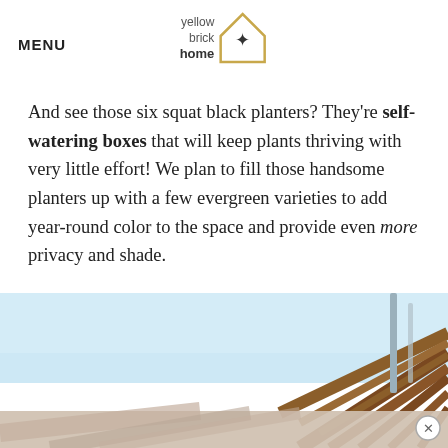MENU
[Figure (logo): Yellow Brick Home logo with house outline and star icon]
And see those six squat black planters? They're self-watering boxes that will keep plants thriving with very little effort! We plan to fill those handsome planters up with a few evergreen varieties to add year-round color to the space and provide even more privacy and shade.
[Figure (photo): Photo of wooden pergola or roof structure with metal pole against a light blue sky, partially obscured by an advertisement bar at the bottom]